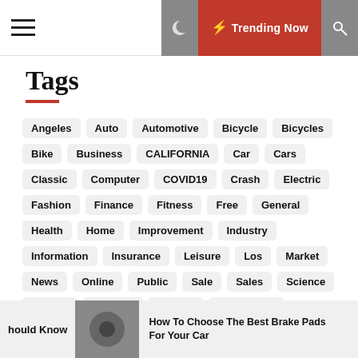≡ ☾ ⚡ Trending Now 🔍
Tags
Angeles
Auto
Automotive
Bicycle
Bicycles
Bike
Business
CALIFORNIA
Car
Cars
Classic
Computer
COVID19
Crash
Electric
Fashion
Finance
Fitness
Free
General
Health
Home
Improvement
Industry
Information
Insurance
Leisure
Los
Market
News
Online
Public
Sale
Sales
Science
Service
Services
System
Technology
hould Know — How To Choose The Best Brake Pads For Your Car